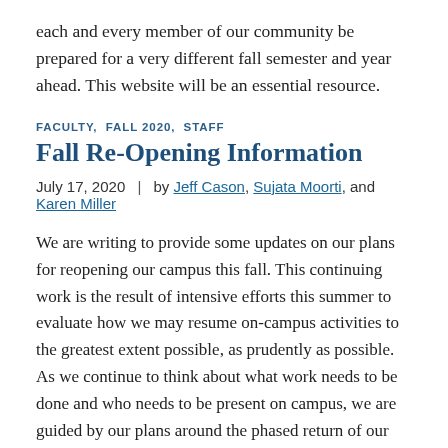each and every member of our community be prepared for a very different fall semester and year ahead. This website will be an essential resource.
FACULTY, FALL 2020, STAFF
Fall Re-Opening Information
July 17, 2020   |   by Jeff Cason, Sujata Moorti, and Karen Miller
We are writing to provide some updates on our plans for reopening our campus this fall. This continuing work is the result of intensive efforts this summer to evaluate how we may resume on-campus activities to the greatest extent possible, as prudently as possible. As we continue to think about what work needs to be done and who needs to be present on campus, we are guided by our plans around the phased return of our students. As we communicated in our June 22 le